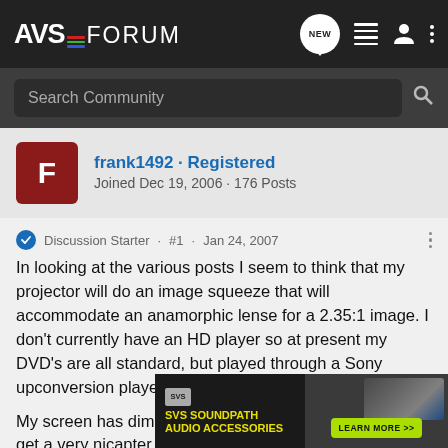AVS Forum - Navigation bar with logo, NEW button, list icon, user icon, more icon
Search Community
frank1492 · Registered
Joined Dec 19, 2006 · 176 Posts
Discussion Starter · #1 · Jan 24, 2007
In looking at the various posts I seem to think that my projector will do an image squeeze that will accommodate an anamorphic lense for a 2.35:1 image. I don't currently have an HD player so at present my DVD's are all standard, but played through a Sony upconversion player.

My screen has dimensions app. 5 X 12. With the zoom, I get a very nic...apter which I...ope"
[Figure (screenshot): SVS SoundPath Audio Accessories advertisement banner with yellow/green text, SVS logo, and Learn More button]